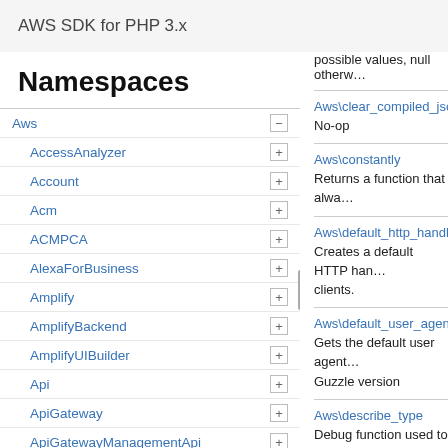AWS SDK for PHP 3.x
Namespaces
Aws
AccessAnalyzer
Account
Acm
ACMPCA
AlexaForBusiness
Amplify
AmplifyBackend
AmplifyUIBuilder
Api
ApiGateway
ApiGatewayManagementApi
possible values, null otherw...
Aws\clear_compiled_json
No-op
Aws\constantly
Returns a function that alwa...
Aws\default_http_handler
Creates a default HTTP handler for clients.
Aws\default_user_agent
Gets the default user agent... Guzzle version
Aws\describe_type
Debug function used to des... and class.
Aws\dir_iterator
Iterates over the files in a d... custom wrappers.